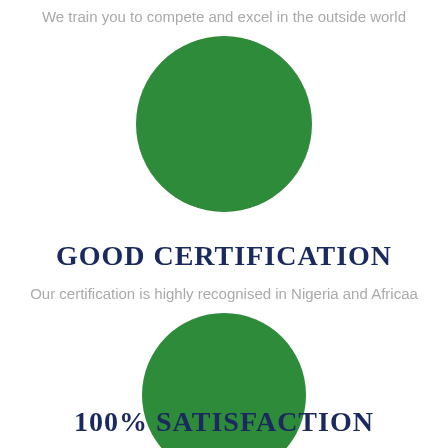We train you to compete and excel in the outside world
[Figure (illustration): Green filled circle, large, centered on upper half of page]
GOOD CERTIFICATION
Our certification is highly recognised in Nigeria and Africaa
[Figure (illustration): Green filled circle, large, centered on lower half of page]
100% SATISFACTION